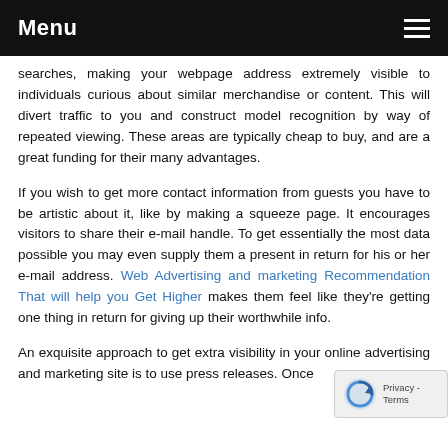Menu
searches, making your webpage address extremely visible to individuals curious about similar merchandise or content. This will divert traffic to you and construct model recognition by way of repeated viewing. These areas are typically cheap to buy, and are a great funding for their many advantages.
If you wish to get more contact information from guests you have to be artistic about it, like by making a squeeze page. It encourages visitors to share their e-mail handle. To get essentially the most data possible you may even supply them a present in return for his or her e-mail address. Web Advertising and marketing Recommendation That will help you Get Higher makes them feel like they're getting one thing in return for giving up their worthwhile info.
An exquisite approach to get extra visibility in your online advertising and marketing site is to use press releases. Once